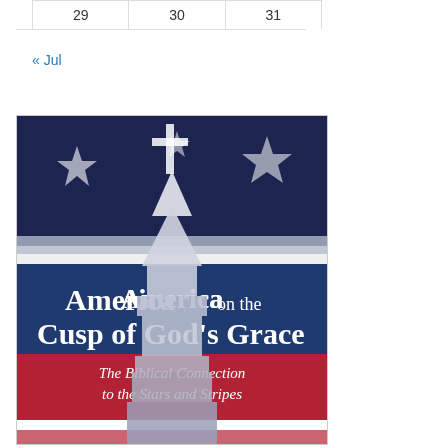| 29 | 30 | 31 |
« Jul
[Figure (illustration): Book cover: 'America on the Cusp of God's Grace – The Biblical Connection to the Stars and Stripes'. Blue and dark background with American flag stars, a white church steeple/cross, blue banner with title text, red banner with subtitle text in italic.]